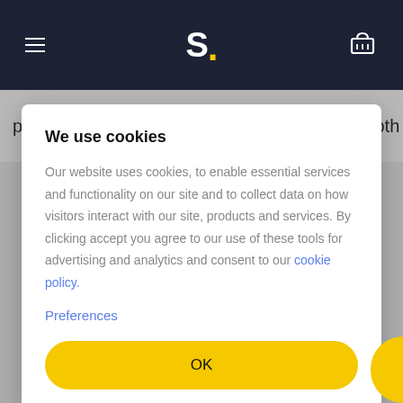S. [logo with hamburger menu and cart icon]
pages. You should be tracking this metric at both a
We use cookies

Our website uses cookies, to enable essential services and functionality on our site and to collect data on how visitors interact with our site, products and services. By clicking accept you agree to our use of these tools for advertising and analytics and consent to our cookie policy.

Preferences

OK